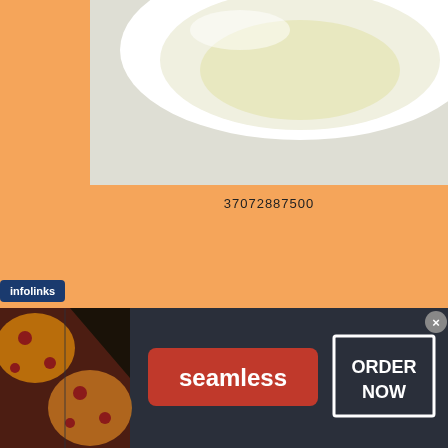[Figure (photo): Product photo of a white ceramic bowl or dish with a light yellow/cream interior, cropped at top, shown against a light gray/beige background]
37072887500
[Figure (photo): Product photo of a handbag with light tan/nude leather strap arching upward, shown against a white background with faint watermark pattern]
[Figure (screenshot): Advertisement banner: infolinks logo, pizza image on left, seamless logo in center on red background, ORDER NOW button in white box on right, dark background, with X close button]